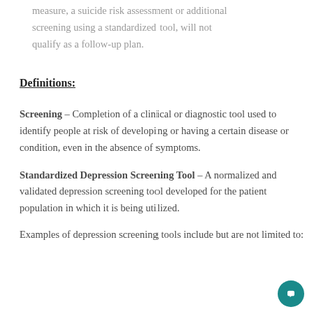measure, a suicide risk assessment or additional screening using a standardized tool, will not qualify as a follow-up plan.
Definitions:
Screening – Completion of a clinical or diagnostic tool used to identify people at risk of developing or having a certain disease or condition, even in the absence of symptoms.
Standardized Depression Screening Tool – A normalized and validated depression screening tool developed for the patient population in which it is being utilized.
Examples of depression screening tools include but are not limited to: